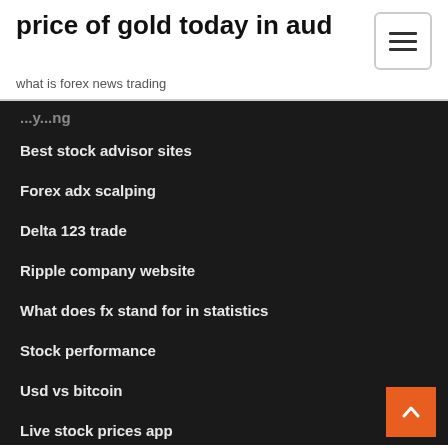price of gold today in aud
what is forex news trading
Best stock advisor sites
Forex adx scalping
Delta 123 trade
Ripple company website
What does fx stand for in statistics
Stock performance
Usd vs bitcoin
Live stock prices app
Share warrants investopedia